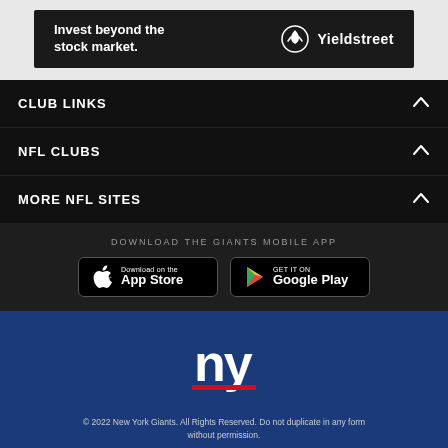[Figure (infographic): Yieldstreet advertisement banner: dark background with text 'Invest beyond the stock market.' on left, Yieldstreet logo (deer icon) and wordmark on right]
CLUB LINKS
NFL CLUBS
MORE NFL SITES
DOWNLOAD THE GIANTS MOBILE APP
[Figure (screenshot): Download on the App Store button]
[Figure (screenshot): GET IT ON Google Play button]
[Figure (logo): New York Giants ny logo in red and white on dark blue background]
© 2022 New York Giants. All Rights Reserved. Do not duplicate in any form without permission.